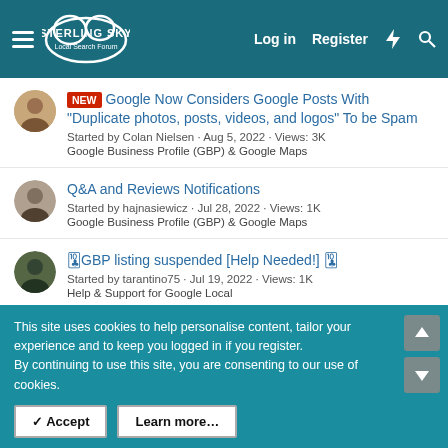Sterling Sky Local Search Forum — Log in | Register
NEW Google Now Considers Google Posts With "Duplicate photos, posts, videos, and logos" To be Spam — Started by Colan Nielsen · Aug 5, 2022 · Views: 3K — Google Business Profile (GBP) & Google Maps
Q&A and Reviews Notifications — Started by hajnasiewicz · Jul 28, 2022 · Views: 1K — Google Business Profile (GBP) & Google Maps
🔴GBP listing suspended [Help Needed!] 🔴 — Started by tarantino75 · Jul 19, 2022 · Views: 1K — Help & Support for Google Local
New Google Search Dashboard Layout — Started by Professor M · Jul 28, 2022 · Views: 1K
This site uses cookies to help personalise content, tailor your experience and to keep you logged in if you register.
By continuing to use this site, you are consenting to our use of cookies.